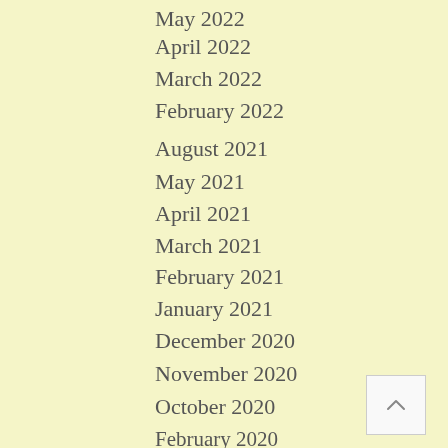May 2022
April 2022
March 2022
February 2022
August 2021
May 2021
April 2021
March 2021
February 2021
January 2021
December 2020
November 2020
October 2020
September 2020
August 2020
July 2020
June 2020
May 2020
April 2020
March 2020
February 2020